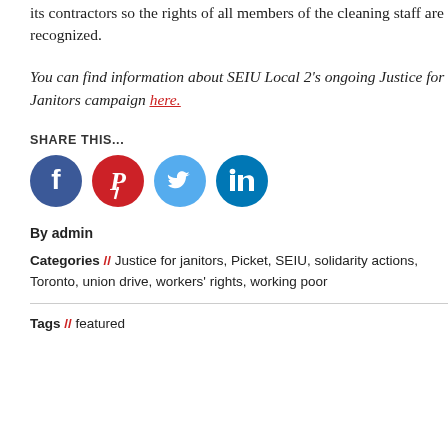its contractors so the rights of all members of the cleaning staff are recognized.
You can find information about SEIU Local 2's ongoing Justice for Janitors campaign here.
SHARE THIS...
[Figure (illustration): Four social media icons in circles: Facebook (dark blue), Pinterest (red), Twitter (light blue), LinkedIn (dark teal/blue)]
By admin
Categories // Justice for janitors, Picket, SEIU, solidarity actions, Toronto, union drive, workers' rights, working poor
Tags // featured